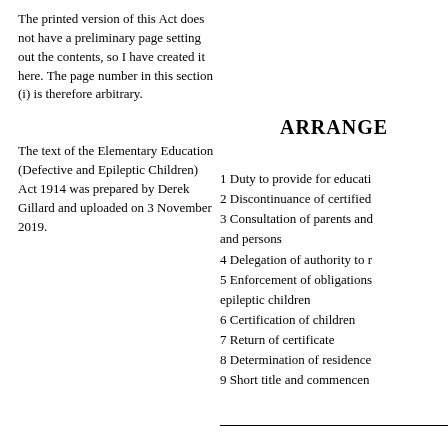The printed version of this Act does not have a preliminary page setting out the contents, so I have created it here. The page number in this section (i) is therefore arbitrary.
The text of the Elementary Education (Defective and Epileptic Children) Act 1914 was prepared by Derek Gillard and uploaded on 3 November 2019.
ARRANGE
1 Duty to provide for educati
2 Discontinuance of certified
3 Consultation of parents and and persons
4 Delegation of authority to r
5 Enforcement of obligations epileptic children
6 Certification of children
7 Return of certificate
8 Determination of residence
9 Short title and commencen